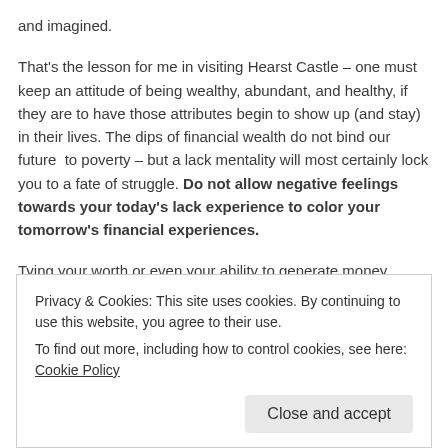and imagined.
That’s the lesson for me in visiting Hearst Castle – one must keep an attitude of being wealthy, abundant, and healthy, if they are to have those attributes begin to show up (and stay) in their lives. The dips of financial wealth do not bind our future  to poverty – but a lack mentality will most certainly lock you to a fate of struggle. Do not allow negative feelings towards your today’s lack experience to color your tomorrow’s financial experiences.
Tying your worth or even your ability to generate money energy by your current bank account balance will surely keep you in a low funds lifestyle. Tying your overall health and wellbeing to today’s pain and
Privacy & Cookies: This site uses cookies. By continuing to use this website, you agree to their use.
To find out more, including how to control cookies, see here: Cookie Policy
Close and accept